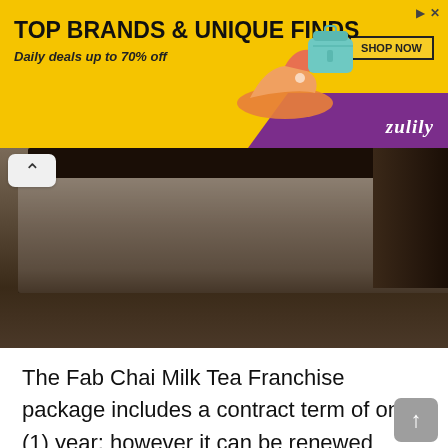[Figure (other): Zulily advertisement banner: yellow background with text 'TOP BRANDS & UNIQUE FINDS' and 'Daily deals up to 70% off', with purple branding area, shop now button, and product images of shoes and bag]
[Figure (photo): Photo of what appears to be a dark wooden or furniture surface, partially visible with a dark bar at top]
The Fab Chai Milk Tea Franchise package includes a contract term of one (1) year; however it can be renewed yearly without any fees. They are also not charging fees such as royalty, advertising, or sales percentage. Your main responsibility as a franchisee is strictly order supplies or stocks with them. Its package also includes kiosk cart, set of equipment, hands-on training, and uniforms for your staff. In short, all that you needed to start the milk tea